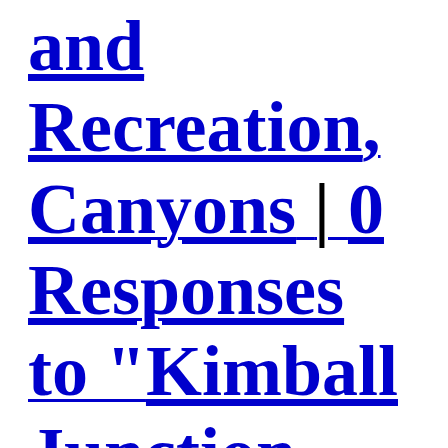and Recreation, Canyons | 0 Responses to "Kimball Junction